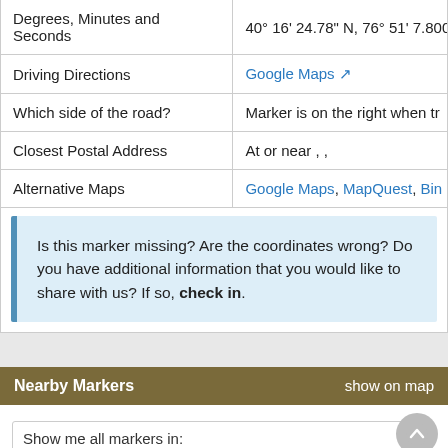|  |  |
| --- | --- |
| Degrees, Minutes and Seconds | 40° 16' 24.78" N, 76° 51' 7.8000 |
| Driving Directions | Google Maps ↗ |
| Which side of the road? | Marker is on the right when tr |
| Closest Postal Address | At or near , , |
| Alternative Maps | Google Maps, MapQuest, Bin |
Is this marker missing? Are the coordinates wrong? Do you have additional information that you would like to share with us? If so, check in.
Nearby Markers
Show me all markers in: